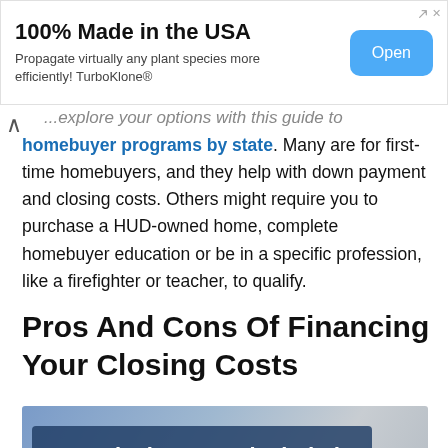[Figure (other): Advertisement banner: '100% Made in the USA' with subtitle 'Propagate virtually any plant species more efficiently! TurboKlone®' and a blue 'Open' button]
...explore your options with this guide to homebuyer programs by state. Many are for first-time homebuyers, and they help with down payment and closing costs. Others might require you to purchase a HUD-owned home, complete homebuyer education or be in a specific profession, like a firefighter or teacher, to qualify.
Pros And Cons Of Financing Your Closing Costs
[Figure (photo): Image with dark blue overlay text reading 'Are closing costs included with a USDA loan?']